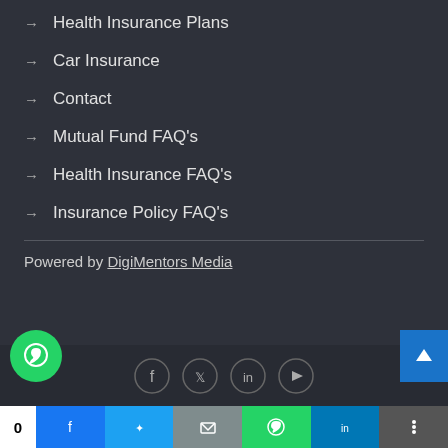→ Health Insurance Plans
→ Car Insurance
→ Contact
→ Mutual Fund FAQ's
→ Health Insurance FAQ's
→ Insurance Policy FAQ's
Powered by DigiMentors Media
All rights reserved. #Dhanvridhi Investments